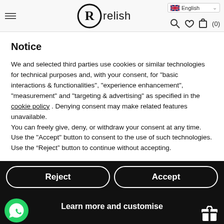relish — English language selector, hamburger menu, search, wishlist, cart (0)
Notice
We and selected third parties use cookies or similar technologies for technical purposes and, with your consent, for "basic interactions & functionalities", "experience enhancement", "measurement" and "targeting & advertising" as specified in the cookie policy . Denying consent may make related features unavailable.
You can freely give, deny, or withdraw your consent at any time. Use the "Accept" button to consent to the use of such technologies. Use the “Reject” button to continue without accepting.
Reject
Accept
Learn more and customise